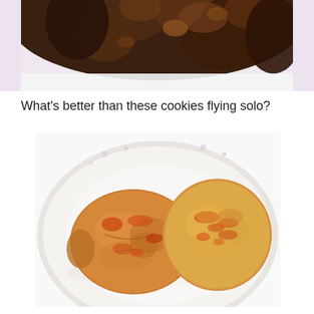[Figure (photo): Top portion of a dark chocolate cookie or brownie on a light pink/white surface, partially cropped at the top of the page]
What's better than these cookies flying solo?
[Figure (photo): Two golden-brown baked cookies side by side on a white oval plate with floral rim pattern. The left cookie is flatter and wider, the right one is thicker and more rounded. Both have reddish-orange speckled tops.]